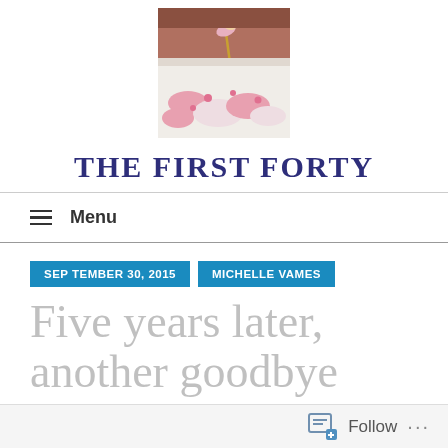[Figure (photo): A pink decorated cake with a small figurine on top, close-up photo]
THE FIRST FORTY
≡  Menu
SEPTEMBER 30, 2015   MICHELLE VAMES
Five years later, another goodbye